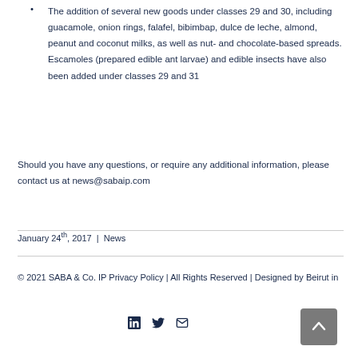The addition of several new goods under classes 29 and 30, including guacamole, onion rings, falafel, bibimbap, dulce de leche, almond, peanut and coconut milks, as well as nut- and chocolate-based spreads. Escamoles (prepared edible ant larvae) and edible insects have also been added under classes 29 and 31
Should you have any questions, or require any additional information, please contact us at news@sabaip.com
January 24th, 2017 | News
© 2021 SABA & Co. IP Privacy Policy | All Rights Reserved | Designed by Beirut in